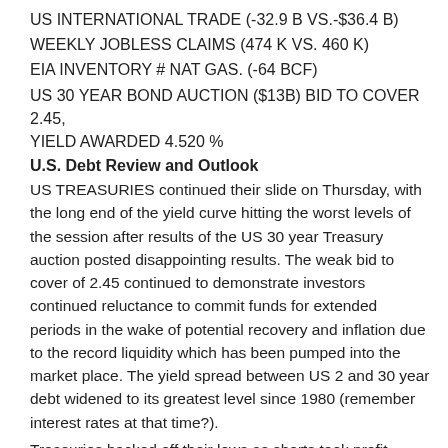US INTERNATIONAL TRADE (-32.9 B VS.-$36.4 B)
WEEKLY JOBLESS CLAIMS (474 K VS. 460 K)
EIA INVENTORY # NAT GAS. (-64 BCF)
US 30 YEAR BOND AUCTION ($13B) BID TO COVER 2.45, YIELD AWARDED 4.520 %
U.S. Debt Review and Outlook
US TREASURIES continued their slide on Thursday, with the long end of the yield curve hitting the worst levels of the session after results of the US 30 year Treasury auction posted disappointing results. The weak bid to cover of 2.45 continued to demonstrate investors continued reluctance to commit funds for extended periods in the wake of potential recovery and inflation due to the record liquidity which has been pumped into the market place. The yield spread between US 2 and 30 year debt widened to its greatest level since 1980 (remember interest rates at that time?).
Treasuries backed off their lows as shorts took profit, applying the “sell the rumor, buy the fact” strategy in a classic pattern. Experience suggests that traders may be expecting continuation of short covering going into the weekend as